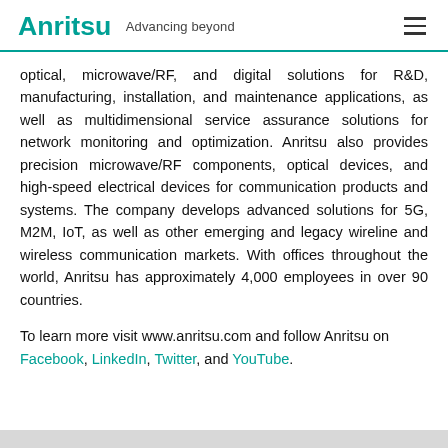Anritsu Advancing beyond
optical, microwave/RF, and digital solutions for R&D, manufacturing, installation, and maintenance applications, as well as multidimensional service assurance solutions for network monitoring and optimization. Anritsu also provides precision microwave/RF components, optical devices, and high-speed electrical devices for communication products and systems. The company develops advanced solutions for 5G, M2M, IoT, as well as other emerging and legacy wireline and wireless communication markets. With offices throughout the world, Anritsu has approximately 4,000 employees in over 90 countries.
To learn more visit www.anritsu.com and follow Anritsu on Facebook, LinkedIn, Twitter, and YouTube.